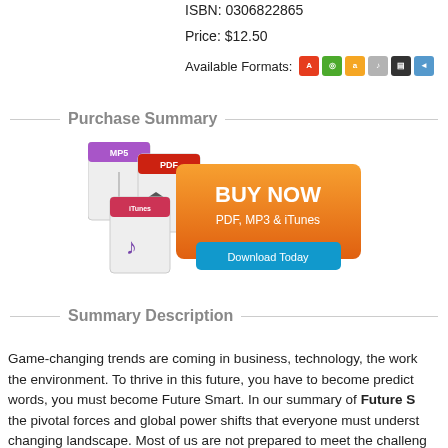ISBN: 0306822865
Price: $12.50
Available Formats:
Purchase Summary
[Figure (other): Buy Now button graphic with PDF, MP3 & iTunes icons and Download Today button]
Summary Description
Game-changing trends are coming in business, technology, the work... the environment. To thrive in this future, you have to become predict... words, you must become Future Smart. In our summary of Future S... the pivotal forces and global power shifts that everyone must underst... changing landscape. Most of us are not prepared to meet the challeng... changes are coming fast. Armed with the knowledge you'll gain from